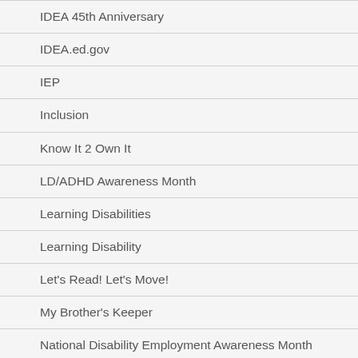IDEA 45th Anniversary
IDEA.ed.gov
IEP
Inclusion
Know It 2 Own It
LD/ADHD Awareness Month
Learning Disabilities
Learning Disability
Let's Read! Let's Move!
My Brother's Keeper
National Disability Employment Awareness Month
New IDEA Website